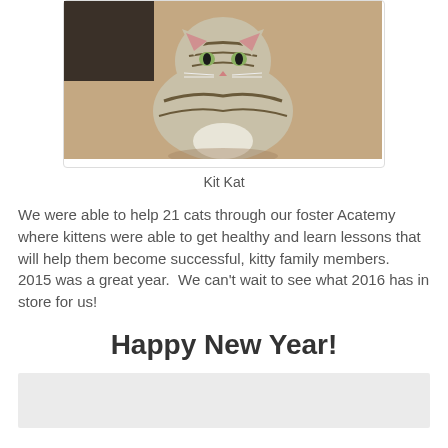[Figure (photo): A tabby kitten sitting on beige carpet, looking at the camera]
Kit Kat
We were able to help 21 cats through our foster Acatemy where kittens were able to get healthy and learn lessons that will help them become successful, kitty family members.  2015 was a great year.  We can't wait to see what 2016 has in store for us!
Happy New Year!
[Figure (other): Gray/light placeholder box area]